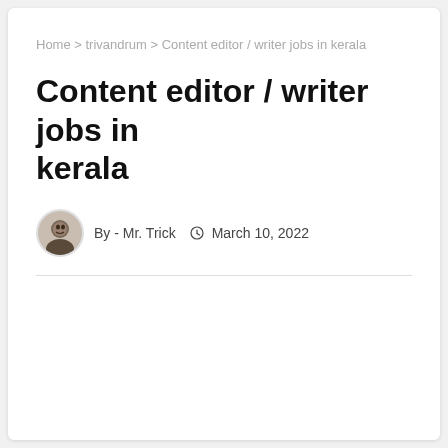Home > trivandrum > Content editor / writer jobs in kerala
Content editor / writer jobs in kerala
By - Mr. Trick   March 10, 2022